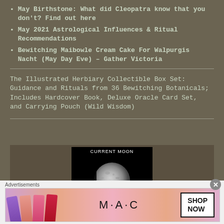May Birthstone: What did Cleopatra know that you don't? Find out here
May 2021 Astrological Influences & Ritual Recommendations
Bewitching Maibowle Cream Cake For Walpurgis Nacht (May Day Eve) – Gather Victoria
The Illustrated Herbiary Collectible Box Set: Guidance and Rituals from 36 Bewitching Botanicals; Includes Hardcover Book, Deluxe Oracle Card Set, and Carrying Pouch (Wild Wisdom)
[Figure (photo): Current Moon photo showing a crescent/partial moon against black background with CURRENT MOON label]
[Figure (advertisement): MAC cosmetics advertisement showing lipsticks in purple, peach, pink, and red colors with MAC logo and SHOP NOW button]